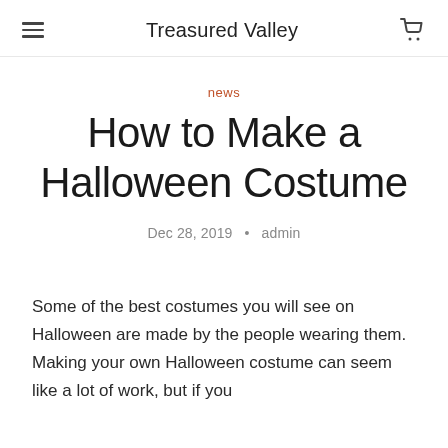Treasured Valley
news
How to Make a Halloween Costume
Dec 28, 2019 · admin
Some of the best costumes you will see on Halloween are made by the people wearing them. Making your own Halloween costume can seem like a lot of work, but if you